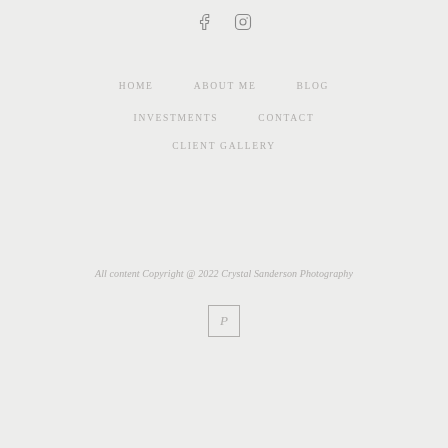[Figure (logo): Social media icons: Facebook (f) and Instagram (camera/circle icon)]
HOME
ABOUT ME
BLOG
INVESTMENTS
CONTACT
CLIENT GALLERY
All content Copyright @ 2022 Crystal Sanderson Photography
[Figure (logo): Pixieset logo: letter P inside a square border]